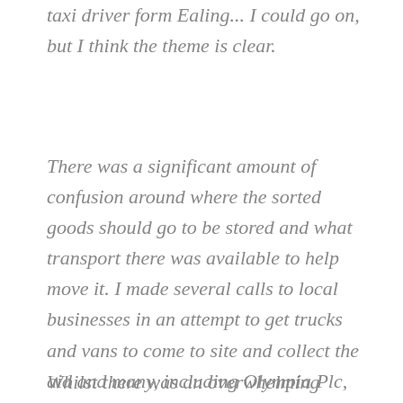taxi driver form Ealing... I could go on, but I think the theme is clear.
There was a significant amount of confusion around where the sorted goods should go to be stored and what transport there was available to help move it. I made several calls to local businesses in an attempt to get trucks and vans to come to site and collect the aid and many, including Olympia Plc, responded quickly and sent several vans (at short notice) to help.
Whilst there was an overwhelming feeling of